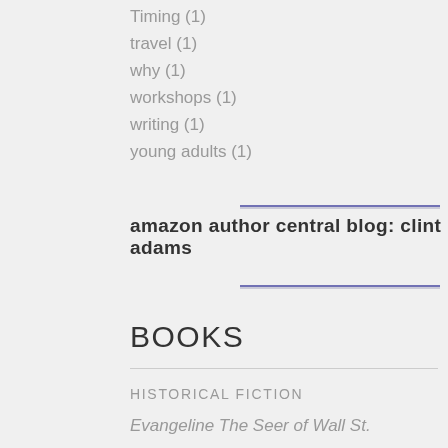Timing (1)
travel (1)
why (1)
workshops (1)
writing (1)
young adults (1)
amazon author central blog: clint adams
BOOKS
HISTORICAL FICTION
Evangeline The Seer of Wall St.